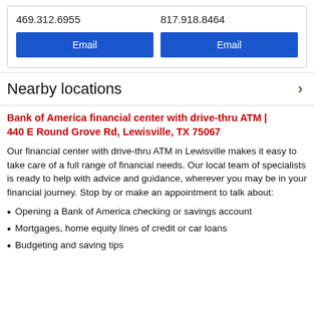469.312.6955
Email
817.918.8464
Email
Nearby locations
Bank of America financial center with drive-thru ATM | 440 E Round Grove Rd, Lewisville, TX 75067
Our financial center with drive-thru ATM in Lewisville makes it easy to take care of a full range of financial needs. Our local team of specialists is ready to help with advice and guidance, wherever you may be in your financial journey. Stop by or make an appointment to talk about:
Opening a Bank of America checking or savings account
Mortgages, home equity lines of credit or car loans
Budgeting and saving tips